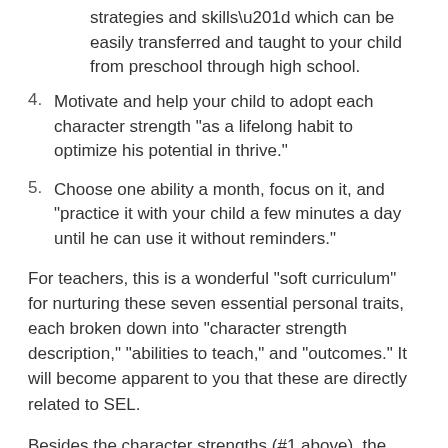strategies and skills” which can be easily transferred and taught to your child from preschool through high school.
4. Motivate and help your child to adopt each character strength “as a lifelong habit to optimize his potential in thrive.”
5. Choose one ability a month, focus on it, and “practice it with your child a few minutes a day until he can use it without reminders.”
For teachers, this is a wonderful “soft curriculum” for nurturing these seven essential personal traits, each broken down into “character strength description,” “abilities to teach,” and “outcomes.” It will become apparent to you that these are directly related to SEL.
Besides the character strengths (#1 above), the